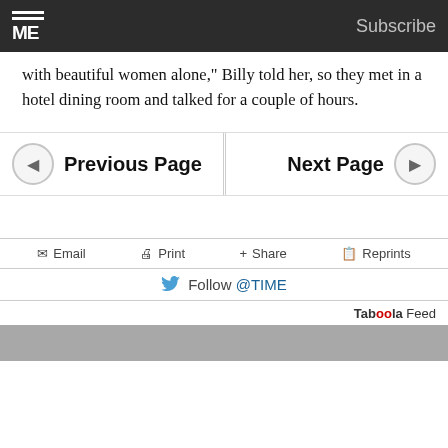TIME — Subscribe
with beautiful women alone," Billy told her, so they met in a hotel dining room and talked for a couple of hours.
Previous Page | Next Page
Email   Print   + Share   Reprints
Follow @TIME
Taboola Feed
[Figure (photo): Partial photo of a person visible at the bottom of the page]